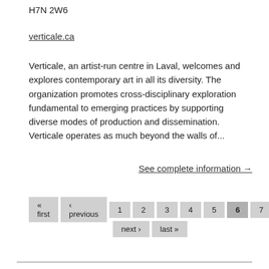H7N 2W6
verticale.ca
Verticale, an artist-run centre in Laval, welcomes and explores contemporary art in all its diversity. The organization promotes cross-disciplinary exploration fundamental to emerging practices by supporting diverse modes of production and dissemination. Verticale operates as much beyond the walls of...
See complete information →
« first ‹ previous 1 2 3 4 5 6 7 next › last »